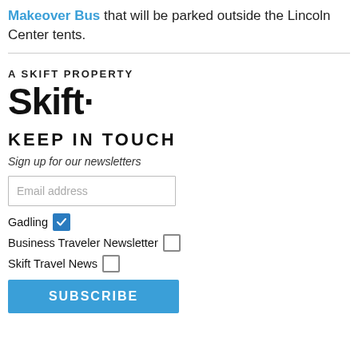Makeover Bus that will be parked outside the Lincoln Center tents.
A SKIFT PROPERTY
[Figure (logo): Skift logo in bold black text with a period/dot]
KEEP IN TOUCH
Sign up for our newsletters
Email address (input field)
Gadling (checked checkbox)
Business Traveler Newsletter (unchecked checkbox)
Skift Travel News (unchecked checkbox)
SUBSCRIBE (button)